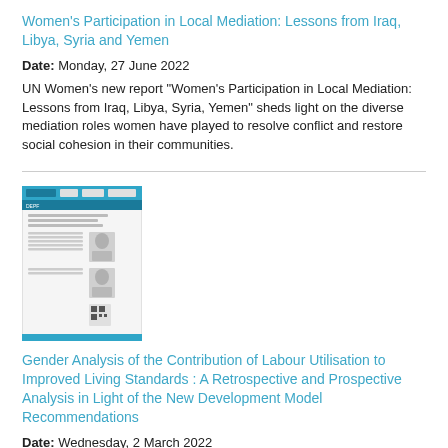Women's Participation in Local Mediation: Lessons from Iraq, Libya, Syria and Yemen
Date: Monday, 27 June 2022
UN Women's new report "Women's Participation in Local Mediation: Lessons from Iraq, Libya, Syria, Yemen" sheds light on the diverse mediation roles women have played to resolve conflict and restore social cohesion in their communities.
[Figure (photo): Thumbnail image of a document cover page with teal/blue header, logos, and a page layout showing text columns and a portrait photo.]
Gender Analysis of the Contribution of Labour Utilisation to Improved Living Standards : A Retrospective and Prospective Analysis in Light of the New Development Model Recommendations
Date: Wednesday, 2 March 2022
Morocco's Ministry of Economy and Finance, through its Department of Financial Studies and Forecasting (DEPF) in